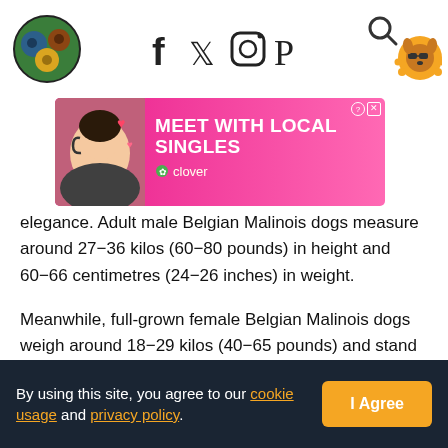[Figure (logo): Pet website logo - circular colorful animal faces icon]
[Figure (infographic): Social media icons: Facebook, Twitter, Instagram, Pinterest]
[Figure (illustration): Orange paw print badge icon with cartoon dog face wearing sunglasses, search icon]
[Figure (photo): Advertisement banner: pink background, woman with headset, hearts, 'MEET WITH LOCAL SINGLES' text, Clover app logo, close button]
elegance. Adult male Belgian Malinois dogs measure around 27–36 kilos (60–80 pounds) in height and 60–66 centimetres (24–26 inches) in weight.
Meanwhile, full-grown female Belgian Malinois dogs weigh around 18–29 kilos (40–65 pounds) and stand approximately 55–60 centimetres (22–24 inches).
The body of Belgian Malinois dogs is proportionate to their head. Their ears are erect and triangular.
By using this site, you agree to our cookie usage and privacy policy.